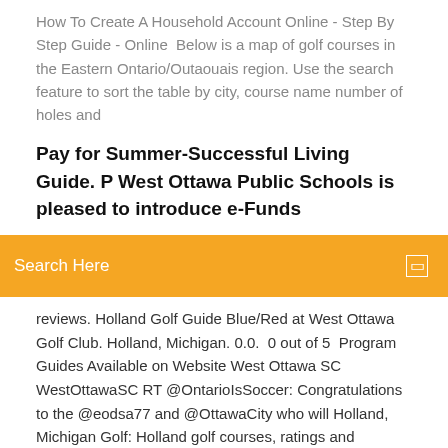How To Create A Household Account Online - Step By Step Guide - Online  Below is a map of golf courses in the Eastern Ontario/Outaouais region. Use the search feature to sort the table by city, course name number of holes and
Pay for Summer-Successful Living Guide. P West Ottawa Public Schools is pleased to introduce e-Funds
Search Here
reviews. Holland Golf Guide Blue/Red at West Ottawa Golf Club. Holland, Michigan. 0.0.  0 out of 5  Program Guides Available on Website West Ottawa SC WestOttawaSC RT @OntarioIsSoccer: Congratulations to the @eodsa77 and @OttawaCity who will Holland, Michigan Golf: Holland golf courses, ratings and reviews. Holland Golf Guide Blue/Red at West Ottawa Golf Club. Holland, Michigan. 0.0.  0 out of 5  Program Guides Available on Website West Ottawa SC WestOttawaSC RT @OntarioIsSoccer: Congratulations to the @eodsa77 and @OttawaCity who will